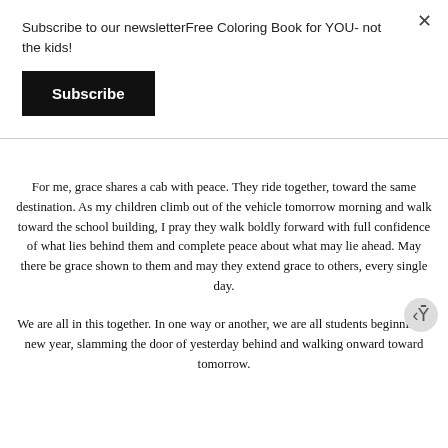Subscribe to our newsletterFree Coloring Book for YOU- not the kids!
Subscribe
For me, grace shares a cab with peace. They ride together, toward the same destination. As my children climb out of the vehicle tomorrow morning and walk toward the school building, I pray they walk boldly forward with full confidence of what lies behind them and complete peace about what may lie ahead. May there be grace shown to them and may they extend grace to others, every single day.
We are all in this together. In one way or another, we are all students beginning a new year, slamming the door of yesterday behind and walking onward toward tomorrow.